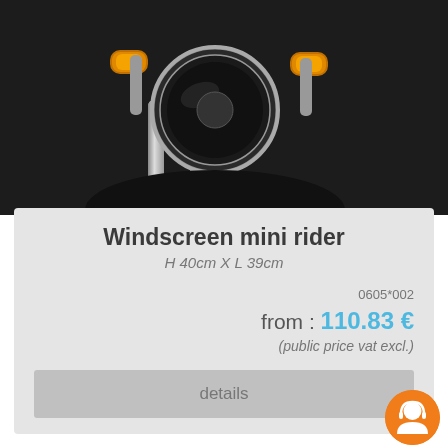[Figure (photo): Close-up photo of motorcycle front end showing headlight, turn signals, and chrome fork components on dark background]
Windscreen mini rider
H 40cm X L 39cm
0605*002
from : 110.83 €
(public price vat excl.)
details
[Figure (photo): Motorcycle with windscreen visible at bottom of page, with orange customer service badge in bottom right corner]